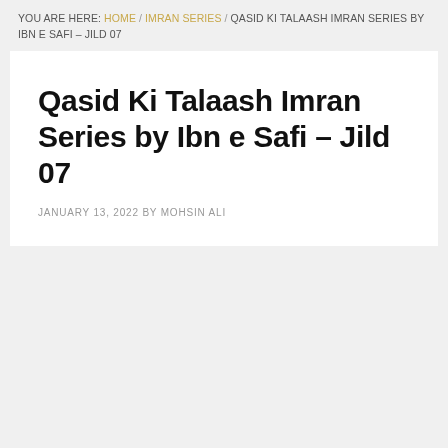YOU ARE HERE: HOME / IMRAN SERIES / QASID KI TALAASH IMRAN SERIES BY IBN E SAFI – JILD 07
Qasid Ki Talaash Imran Series by Ibn e Safi – Jild 07
JANUARY 13, 2022 BY MOHSIN ALI